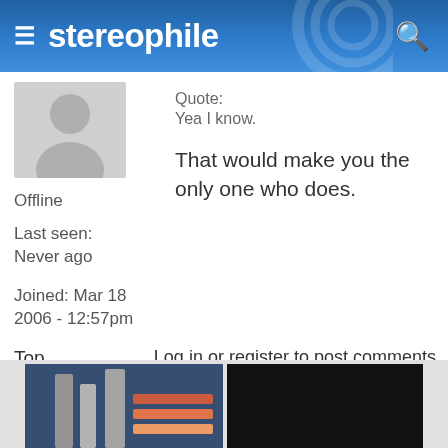≡ stereophile 🔍
[Figure (photo): Default user avatar silhouette on grey background]
Quote:
Yea I know.
Offline
Last seen:
Never ago
Joined: Mar 18 2006 - 12:57pm
That would make you the only one who does.
Top
Log in or register to post comments
[Figure (photo): Partial image of audio equipment at bottom of screen]